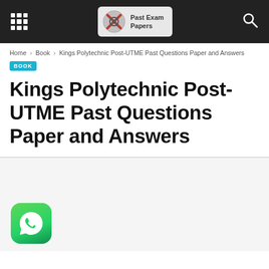Past Exam Papers [navigation bar with grid icon and search icon]
Home › Book › Kings Polytechnic Post-UTME Past Questions Paper and Answers
BOOK
Kings Polytechnic Post-UTME Past Questions Paper and Answers
[Figure (logo): WhatsApp icon — green rounded square with white phone handset in speech bubble]